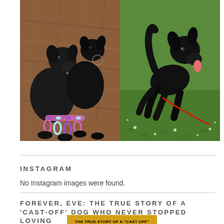[Figure (photo): Two photos side by side of black Labrador dogs. Left photo shows two black labs on a brown fur rug, one holding a colorful braided rope toy. Right photo shows a black lab running on green grass with tongue out and a red leash.]
INSTAGRAM
No Instagram images were found.
FOREVER, EVE: THE TRUE STORY OF A ‘CAST-OFF’ DOG WHO NEVER STOPPED LOVING
[Figure (photo): Book cover for 'Forever, Eve' with a yellow top band reading 'THE TRUE STORY OF A "CAST OFF" DOG WHO NEVER STOPPED LOVING' and a black bottom section with cursive white text reading 'Forever.']